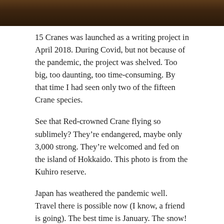[Figure (photo): Dark brown/amber toned photo bar at the top of the page, partially cropped]
15 Cranes was launched as a writing project in April 2018. During Covid, but not because of the pandemic, the project was shelved. Too big, too daunting, too time-consuming. By that time I had seen only two of the fifteen Crane species.
See that Red-crowned Crane flying so sublimely? They’re endangered, maybe only 3,000 strong. They’re welcomed and fed on the island of Hokkaido. This photo is from the Kuhiro reserve.
Japan has weathered the pandemic well. Travel there is possible now (I know, a friend is going). The best time is January. The snow! Those birds!
Should I?